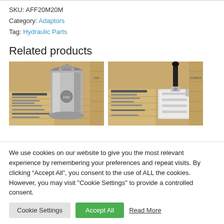SKU: AFF20M20M
Category: Adaptors
Tag: Hydraulic Parts
Related products
[Figure (photo): Photo of a hydraulic adaptor component with geared top, placed against a Crawford Hydraulics Ltd. branded cardboard background]
[Figure (photo): Photo of a hydraulic valve with lever handle, placed against a Crawford Hydraulics Ltd. branded cardboard background]
We use cookies on our website to give you the most relevant experience by remembering your preferences and repeat visits. By clicking “Accept All”, you consent to the use of ALL the cookies. However, you may visit “Cookie Settings” to provide a controlled consent.
Cookie Settings | Accept All | Read More